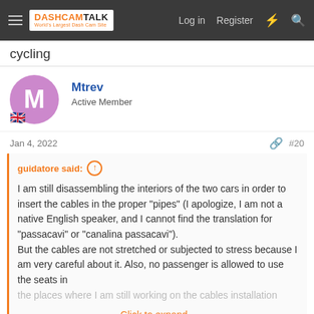DASHCAMTALK - World's Largest Dash Cam Site | Log in | Register
cycling
Mtrev
Active Member
Jan 4, 2022
#20
guidatore said:
I am still disassembling the interiors of the two cars in order to insert the cables in the proper "pipes" (I apologize, I am not a native English speaker, and I cannot find the translation for "passacavi" or "canalina passacavi").
But the cables are not stretched or subjected to stress because I am very careful about it. Also, no passenger is allowed to use the seats in the places where I am still working on the cables installation
Click to expand...
Yes I understand what you mean.
Switching from 3 to 2 and back to 3 sounds like it is losing